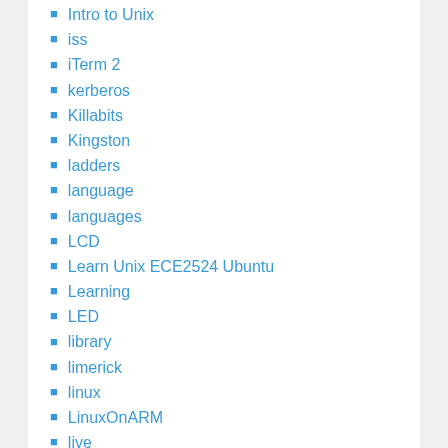Intro to Unix
iss
iTerm 2
kerberos
Killabits
Kingston
ladders
language
languages
LCD
Learn Unix ECE2524 Ubuntu
Learning
LED
library
limerick
linux
LinuxOnARM
live
Mac
major
make
makefile